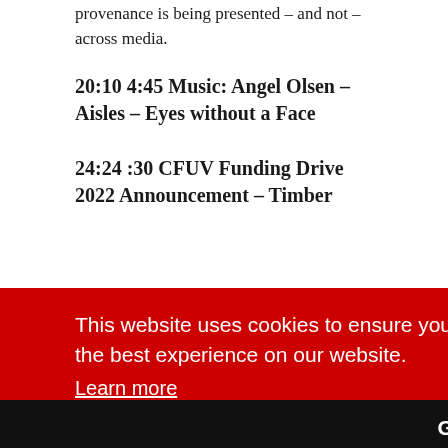provenance is being presented – and not – across media.
20:10 4:45 Music: Angel Olsen – Aisles – Eyes without a Face
24:24 :30 CFUV Funding Drive 2022 Announcement – Timber
This website uses cookies to ensure you get the best experience on our website.
Learn more
Got it
way you can show your appreciation for a